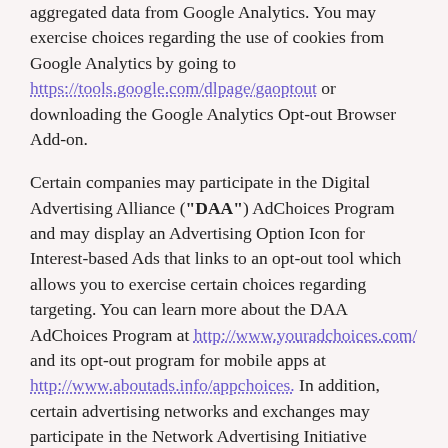aggregated data from Google Analytics. You may exercise choices regarding the use of cookies from Google Analytics by going to https://tools.google.com/dlpage/gaoptout or downloading the Google Analytics Opt-out Browser Add-on.
Certain companies may participate in the Digital Advertising Alliance ("DAA") AdChoices Program and may display an Advertising Option Icon for Interest-based Ads that links to an opt-out tool which allows you to exercise certain choices regarding targeting. You can learn more about the DAA AdChoices Program at http://www.youradchoices.com/ and its opt-out program for mobile apps at http://www.aboutads.info/appchoices. In addition, certain advertising networks and exchanges may participate in the Network Advertising Initiative ("NAI"). NAI has developed a tool that allows consumers to opt out of certain Interest-based Ads delivered by NAI members' ad networks. To learn more about opting out of such targeted advertising or to use the NAI tool, see http://www.networkadvertising.org/choices/. Please be aware that, even if you are able to opt out of certain kinds of